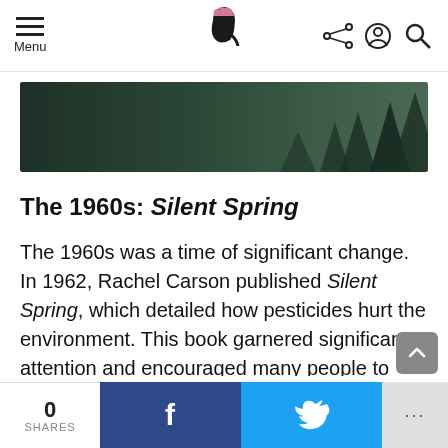Menu [hamburger icon] [logo] [share icon] [account icon] [search icon]
[Figure (infographic): Advertisement banner with dark forest background. Left side: 'Thought you couldn't make a difference in the climate crisis?' Right side: 'Now you can. wren']
The 1960s: Silent Spring
The 1960s was a time of significant change. In 1962, Rachel Carson published Silent Spring, which detailed how pesticides hurt the environment. This book garnered significant attention and encouraged many people to hone in on industrialization's negative effects.
0 SHARES | f | [twitter bird] | ...